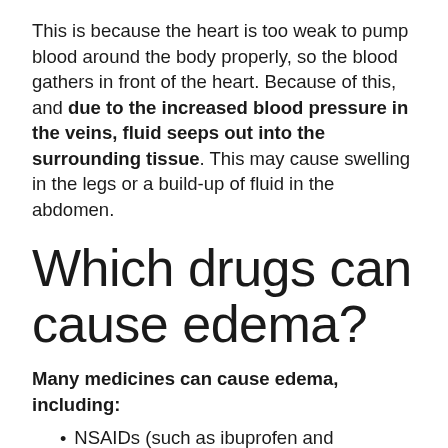This is because the heart is too weak to pump blood around the body properly, so the blood gathers in front of the heart. Because of this, and due to the increased blood pressure in the veins, fluid seeps out into the surrounding tissue. This may cause swelling in the legs or a build-up of fluid in the abdomen.
Which drugs can cause edema?
Many medicines can cause edema, including:
NSAIDs (such as ibuprofen and naproxen)
Calcium channel blockers